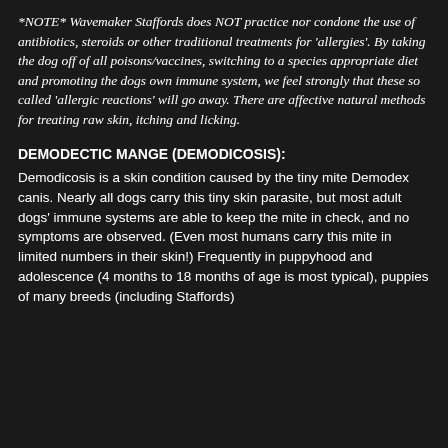*NOTE* Wavemaker Staffords does NOT practice nor condone the use of antibiotics, steroids or other traditional treatments for 'allergies'. By taking the dog off of all poisons/vaccines, switching to a species appropriate diet and promoting the dogs own immune system, we feel strongly that these so called 'allergic reactions' will go away. There are affective natural methods for treating raw skin, itching and licking.
DEMODECTIC MANGE (DEMODICOSIS):
Demodicosis is a skin condition caused by the tiny mite Demodex canis. Nearly all dogs carry this tiny skin parasite, but most adult dogs' immune systems are able to keep the mite in check, and no symptoms are observed. (Even most humans carry this mite in limited numbers in their skin!) Frequently in puppyhood and adolescence (4 months to 18 months of age is most typical), puppies of many breeds (including Staffords)